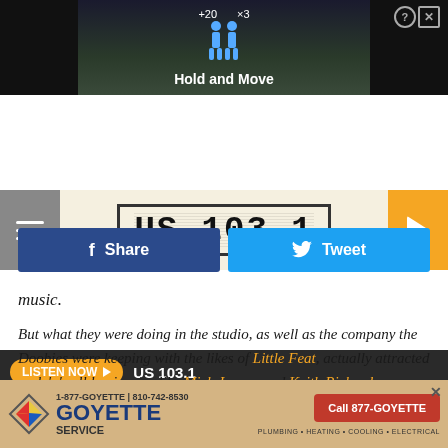[Figure (screenshot): Game/app screenshot showing 'Hold and Move' text with two figures on a dark background with trees]
[Figure (logo): US 103.1 radio station logo in military/stencil style font with border]
LISTEN NOW  US 103.1
f Share   Tweet
music.
But what they were doing in the studio, as well as the company the Doobies were keeping with the likes of Little Feat, actually attracted rock 'n' roll luminaries like Mick Jagger and Keith Richards.
[Figure (screenshot): Goyette Service advertisement banner: 1-877-GOYETTE | 810-742-8530, Call 877-GOYETTE, Plumbing • Heating • Cooling • Electrical]